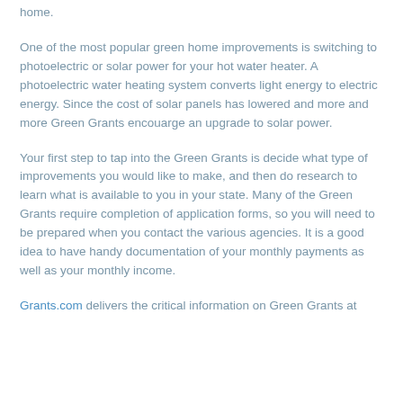home.
One of the most popular green home improvements is switching to photoelectric or solar power for your hot water heater. A photoelectric water heating system converts light energy to electric energy. Since the cost of solar panels has lowered and more and more Green Grants encouarge an upgrade to solar power.
Your first step to tap into the Green Grants is decide what type of improvements you would like to make, and then do research to learn what is available to you in your state. Many of the Green Grants require completion of application forms, so you will need to be prepared when you contact the various agencies. It is a good idea to have handy documentation of your monthly payments as well as your monthly income.
Grants.com delivers the critical information on Green Grants at